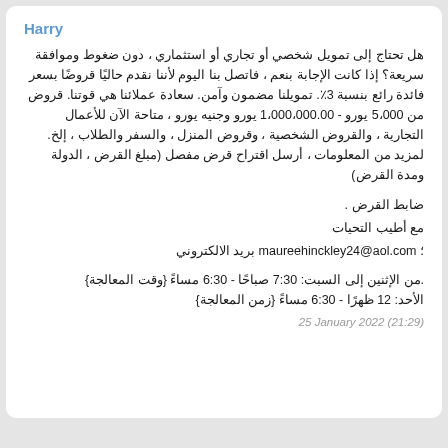Harry
هل تحتاج إلى تمويل شخصي أو تجاري أو استثماري ، دون ضغوط وموافقة سريعة؟ إذا كانت الإجابة بنعم ، فاتصل بنا اليوم لأننا نقدم حاليًا قروضًا بسعر فائدة رائع بنسبة 3٪. تمويلنا مضمون وآمن. سعادة عملائنا هي قوتنا. قروض من 5،000 يورو - 1،000،000.00 يورو وجنيه يورو ، متاحة الآن للأعمال التجارية ، والقروض الشخصية ، وقروض المنزل ، والسفر والطلاب ، إلخ. لمزيد من المعلومات ، أرسل اقتراح قرض مفصل (مبلغ القرض ، الدولة ومدة القرض)
ضابط القرض .
مع أطيب التحيات
بريد الالكتروني؛ maureehinckley24@aol.com
من الإثنين إلى السبت: 7:30 صباحًا - 6:30 مساءً {وقت المعالجة}.
الأحد: 12 ظهرًا - 6:30 مساءً {زمن المعالجة}
25 January 2022 (21:29)